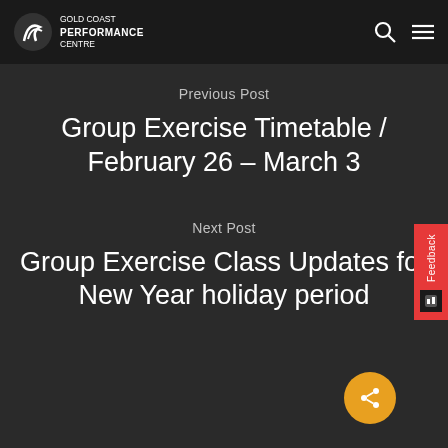Gold Coast Performance Centre
Previous Post
Group Exercise Timetable / February 26 – March 3
Next Post
Group Exercise Class Updates for New Year holiday period